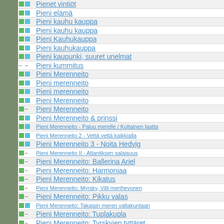Pienet vintiöt
Pieni elämä
Pieni kauhu kauppa
Pieni kauhu kauppa
Pieni Kauhukauppa
Pieni kauhukauppa
Pieni kaupunki, suuret unelmat
Pieni kummitus
Pieni Merenneito
Pieni merenneito
Pieni merenneito
Pieni Merenneito
Pieni Merenneito
Pieni Merenneito & prinssi
Pieni Merenneito - Paluu merelle / Kultainen laatta
Pieni Merenneito 2 - Vettä vettä kaikkialla
Pieni Merenneito 3 - Noita Hedvig
Pieni Merenneito II - Atlantiksen salaisuus
Pieni Merenneito: Ballerina Ariel
Pieni Merenneito: Harmoniaa
Pieni Merenneito: Kikatus
Pieni Merenneito: Myrsky, Villi merihevonen
Pieni Merenneito: Pikku valas
Pieni Merenneito: Takaisin meren valtakuntaan
Pieni Merenneito: Tuplakupla
Pieni Merenneito: Tyrskyjen tyttäret
Pieni Punahilkka
Pieni...